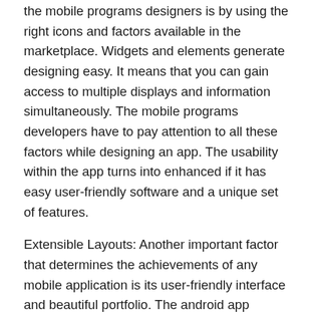the mobile programs designers is by using the right icons and factors available in the marketplace. Widgets and elements generate designing easy. It means that you can gain access to multiple displays and information simultaneously. The mobile programs developers have to pay attention to all these factors while designing an app. The usability within the app turns into enhanced if it has easy user-friendly software and a unique set of features.
Extensible Layouts: Another important factor that determines the achievements of any mobile application is its user-friendly interface and beautiful portfolio. The android app designing specialists need to pay special attention to these two elements while developing an android application. Android apps can be split up into